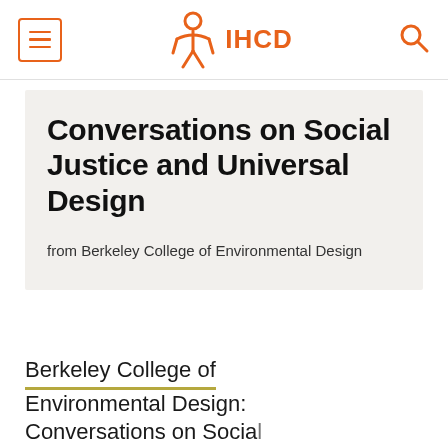IHCD
Conversations on Social Justice and Universal Design
from Berkeley College of Environmental Design
Berkeley College of Environmental Design: Conversations on Social